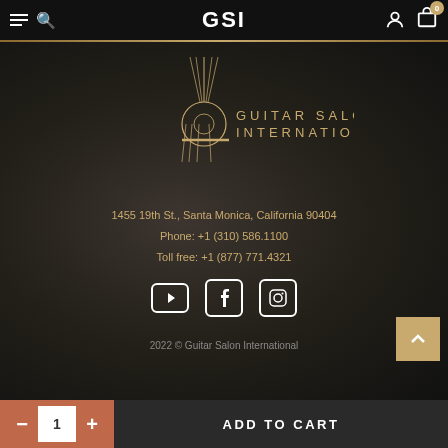GSI
[Figure (logo): Guitar Salon International logo with guitar graphic and text GUITAR SALON INTERNATIONAL in gold on dark background]
1455 19th St., Santa Monica, California 90404
Phone: +1 (310) 586.1100
Toll free: +1 (877) 771.4321
[Figure (illustration): Social media icons: YouTube, Facebook, Instagram]
2022 © Guitar Salon International
1  ADD TO CART